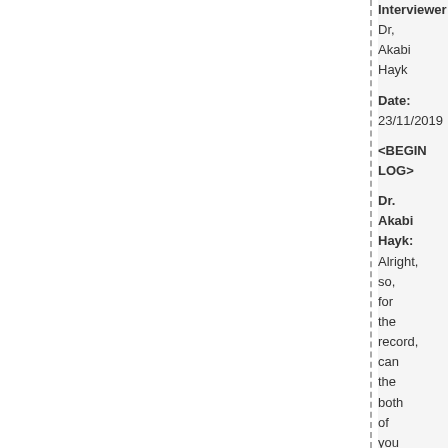Interviewer: Dr. Akabi Hayk
Date: 23/11/2019
<BEGIN LOG>
Dr. Akabi Hayk: Alright, so, for the record, can the both of you state